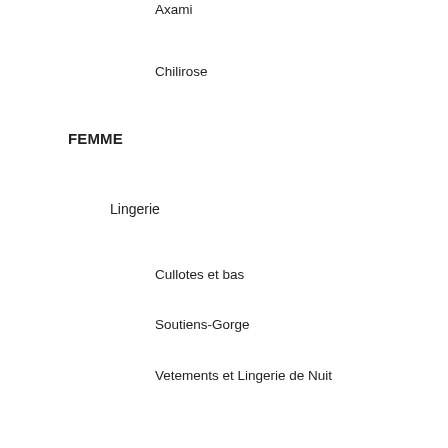Axami
Chilirose
FEMME
Lingerie
Cullotes et bas
Soutiens-Gorge
Vetements et Lingerie de Nuit
Lingerie Sexy, Lingerie Erotique
Collants, Bas
Maillots de Bain
Lingerie Sans Coutuers et Gainants, Lingerie Modelante Et Scupulante
Vetements Femme
Pantalons femme, Shorts femme